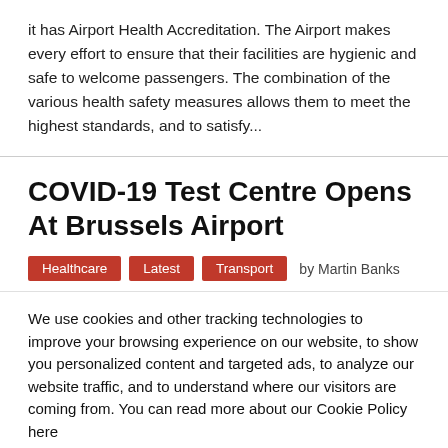it has Airport Health Accreditation. The Airport makes every effort to ensure that their facilities are hygienic and safe to welcome passengers. The combination of the various health safety measures allows them to meet the highest standards, and to satisfy...
COVID-19 Test Centre Opens At Brussels Airport
Healthcare
Latest
Transport
by Martin Banks
We use cookies and other tracking technologies to improve your browsing experience on our website, to show you personalized content and targeted ads, to analyze our website traffic, and to understand where our visitors are coming from. You can read more about our Cookie Policy here
Cookie settings
ACCEPT and CLOSE
Top